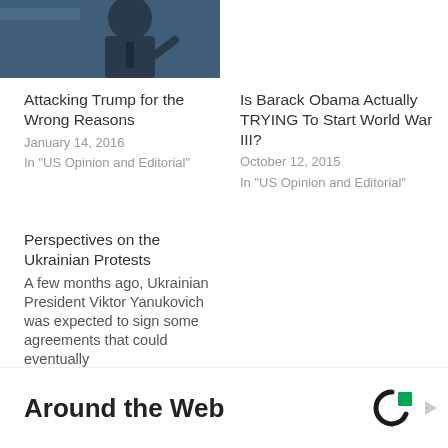[Figure (photo): Partial photo of a man in a suit gesturing, dark background]
Attacking Trump for the Wrong Reasons
January 14, 2016
In "US Opinion and Editorial"
Is Barack Obama Actually TRYING To Start World War III?
October 12, 2015
In "US Opinion and Editorial"
Perspectives on the Ukrainian Protests
A few months ago, Ukrainian President Viktor Yanukovich was expected to sign some agreements that could eventually
January 28, 2014
In "Geopolitical"
Around the Web